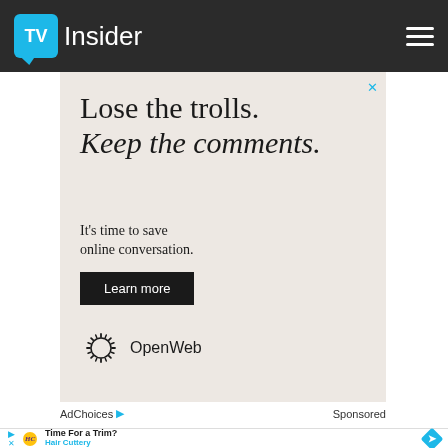TV Insider
[Figure (infographic): Advertisement: Lose the trolls. Keep the comments. It's time to save online conversation. Learn more. OpenWeb logo.]
AdChoices ▷  Sponsored
[Figure (infographic): Advertisement: Time For a Trim? Hair Cuttery. Hair Cuttery logo (HC in yellow circle). Blue diamond navigation arrow.]